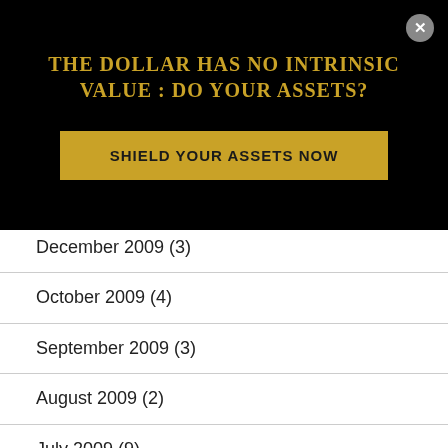THE DOLLAR HAS NO INTRINSIC VALUE : DO YOUR ASSETS?
SHIELD YOUR ASSETS NOW
December 2009 (3)
October 2009 (4)
September 2009 (3)
August 2009 (2)
July 2009 (9)
June 2009 (1)
May 2009 (1)
April 2009 (5)
March 2009 (10)